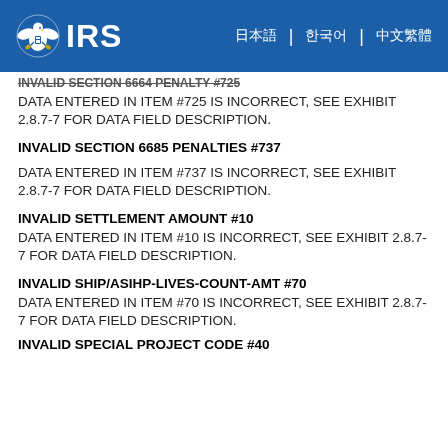IRS
INVALID SECTION 6664 PENALTY #725
DATA ENTERED IN ITEM #725 IS INCORRECT, SEE EXHIBIT 2.8.7-7 FOR DATA FIELD DESCRIPTION.
INVALID SECTION 6685 PENALTIES #737
DATA ENTERED IN ITEM #737 IS INCORRECT, SEE EXHIBIT 2.8.7-7 FOR DATA FIELD DESCRIPTION.
INVALID SETTLEMENT AMOUNT #10
DATA ENTERED IN ITEM #10 IS INCORRECT, SEE EXHIBIT 2.8.7-7 FOR DATA FIELD DESCRIPTION.
INVALID SHIP/ASIHP-LIVES-COUNT-AMT #70
DATA ENTERED IN ITEM #70 IS INCORRECT, SEE EXHIBIT 2.8.7-7 FOR DATA FIELD DESCRIPTION.
INVALID SPECIAL PROJECT CODE #40